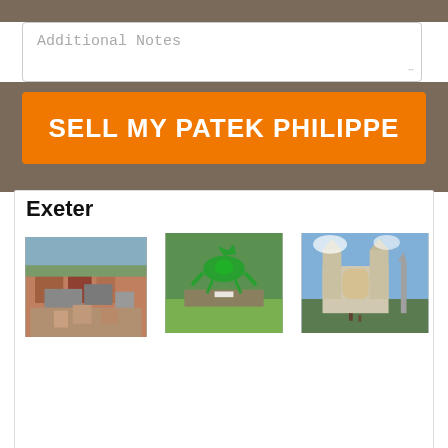Additional Notes
SELL MY PATEK PHILIPPE
Exeter
[Figure (photo): Aerial view of Exeter city centre showing rooftops and streets]
[Figure (photo): Green dragon sculpture in a park with a sign reading Exeter]
[Figure (photo): Exeter Cathedral facade with blue sky and a tall column monument]